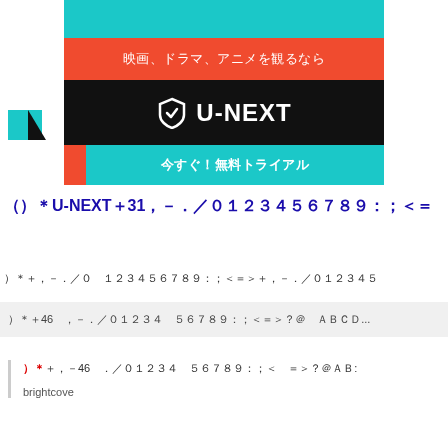[Figure (illustration): U-NEXT streaming service advertisement banner with teal, red, and black sections. Top teal bar with Japanese text (partially cut), red section with Japanese text '映画、ドラマ、アニメを観るなら', black section with U-NEXT logo and shield icon, bottom teal bar with Japanese text '今すぐ！無料トライアル'. Left side has small teal and black triangle decorative elements.]
｢｢｢U-NEXT｣31｣｣｣｣｣｣｣｣｣｣｣｣｣｣｣｣｣｣｣｣
｣｣｣｣｣｣｣｣ ｣｣｣｣｣｣｣｣｣｣｣｣｣｣｣｣｣｣｣｣｣｣｣｣｣｣｣
｣｣｣46 ｣｣｣｣｣｣｣｣｣｣｣ ｣｣｣｣｣｣｣｣｣｣｣｣｣｣ ｣｣｣｣...
｣｣｣｣46 ｣｣｣｣｣｣｣｣｣｣｣ ｣｣｣｣｣｣｣｣｣｣｣｣｣｣ ｣｣｣｣｣｣:
brightcove